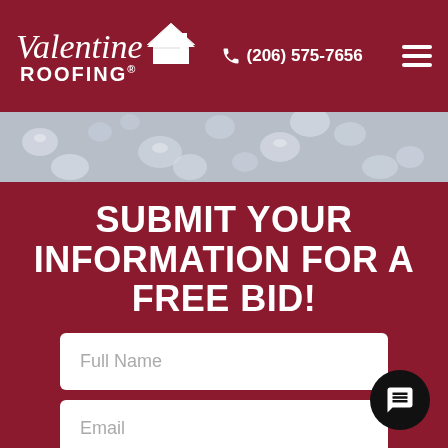[Figure (logo): Valentine Roofing logo with house/roof icon and phone number (206) 575-7656 and hamburger menu on crimson/dark red header background]
[Figure (photo): Close-up photo of raindrops on a glass or wet surface, gray/silver tone]
SUBMIT YOUR INFORMATION FOR A FREE BID!
Full Name
Email